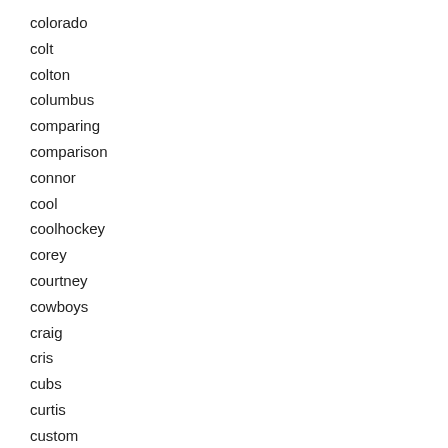colorado
colt
colton
columbus
comparing
comparison
connor
cool
coolhockey
corey
courtney
cowboys
craig
cris
cubs
curtis
custom
customized
cutler
d'angelo